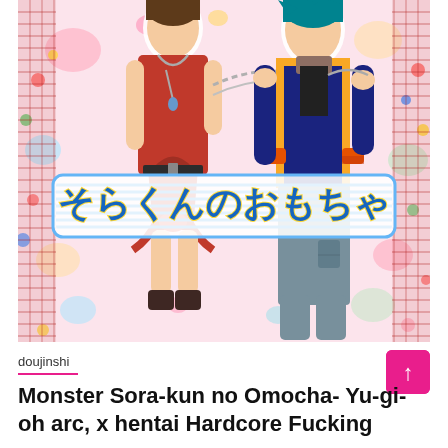[Figure (illustration): Manga/anime style cover art showing two characters: one in a red dress with a chain necklace and red bow, and one in a blue military-style uniform with gold trim and teal hair. Colorful candy/floral background with plaid accents on sides. Japanese title text displayed on a banner across the middle.]
doujinshi
Monster Sora-kun no Omocha- Yu-gi-oh arc, x hentai Hardcore Fucking